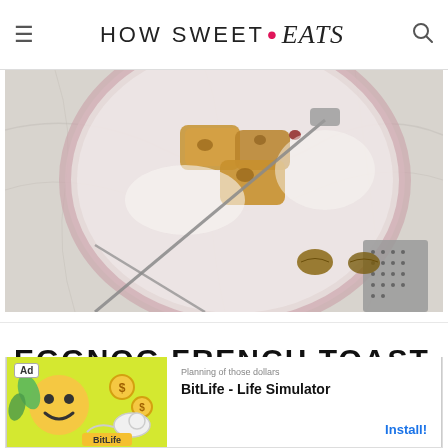HOW SWEET • eats
[Figure (photo): Top-down view of a pink plate with eggnog French toast pieces, a fork, scattered ingredients, and a grater on a white marble surface]
EGGNOG FRENCH TOAST
[Figure (screenshot): Advertisement banner for BitLife - Life Simulator app with colorful cartoon graphics and Install button]